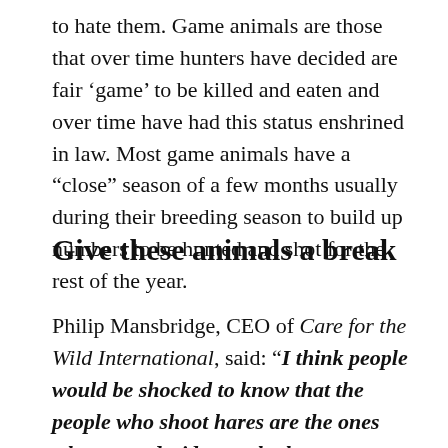to hate them. Game animals are those that over time hunters have decided are fair 'game' to be killed and eaten and over time have had this status enshrined in law. Most game animals have a “close” season of a few months usually during their breeding season to build up numbers to be hunted and shot for the rest of the year.
Give these animals a break
Philip Mansbridge, CEO of Care for the Wild International, said: “I think people would be shocked to know that the people who shoot hares are the ones who get to decide on whether or not